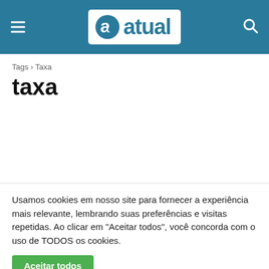[Figure (logo): Atual news website header with hamburger menu, 'a atual' logo in white box, and search icon, on teal background]
Tags › Taxa
taxa
Usamos cookies em nosso site para fornecer a experiência mais relevante, lembrando suas preferências e visitas repetidas. Ao clicar em "Aceitar todos", você concorda com o uso de TODOS os cookies.
Aceitar todos